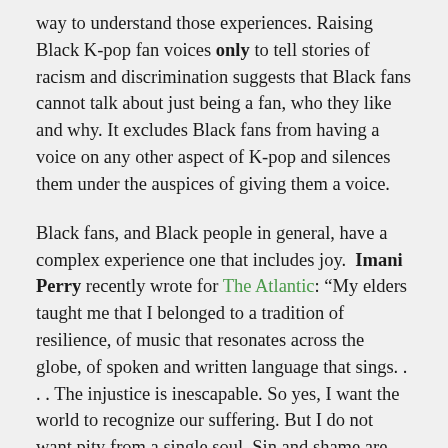way to understand those experiences. Raising Black K-pop fan voices only to tell stories of racism and discrimination suggests that Black fans cannot talk about just being a fan, who they like and why. It excludes Black fans from having a voice on any other aspect of K-pop and silences them under the auspices of giving them a voice.
Black fans, and Black people in general, have a complex experience one that includes joy. Imani Perry recently wrote for The Atlantic: “My elders taught me that I belonged to a tradition of resilience, of music that resonates across the globe, of spoken and written language that sings. . . . The injustice is inescapable. So yes, I want the world to recognize our suffering. But I do not want pity from a single soul. Sin and shame are found in neither my body nor my